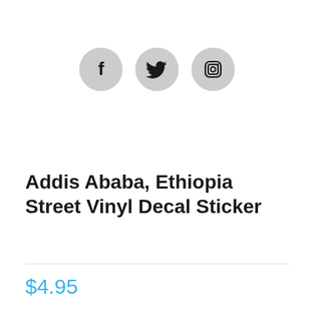[Figure (illustration): Three social media icon circles in light gray: Facebook (f), Twitter (bird), Instagram (camera)]
Addis Ababa, Ethiopia Street Vinyl Decal Sticker
$4.95